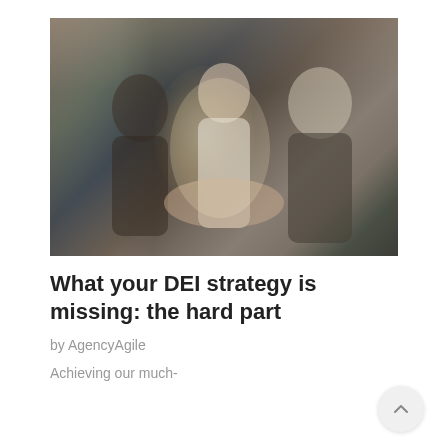[Figure (photo): Three diverse people joining hands together in a team gesture, photographed in a bright office environment with bokeh lighting effect. The image conveys teamwork and diversity.]
What your DEI strategy is missing: the hard part
by AgencyAgile
Achieving our much-